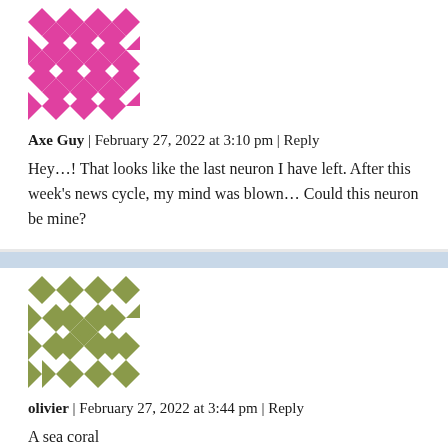[Figure (illustration): Pink and white geometric diamond/quilt pattern avatar for user Axe Guy]
Axe Guy | February 27, 2022 at 3:10 pm | Reply
Hey…! That looks like the last neuron I have left. After this week's news cycle, my mind was blown… Could this neuron be mine?
[Figure (illustration): Olive green and white geometric diamond/quilt pattern avatar for user olivier]
olivier | February 27, 2022 at 3:44 pm | Reply
A sea coral